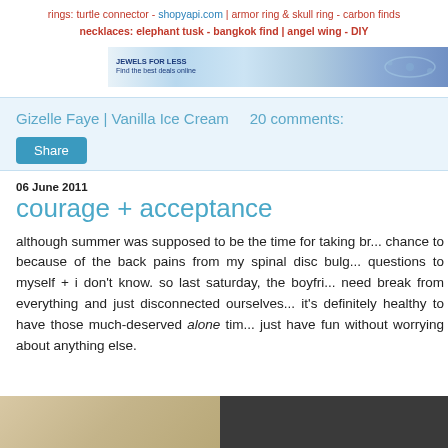rings: turtle connector - shopyapi.com | armor ring & skull ring - carbon finds
necklaces: elephant tusk - bangkok find | angel wing - DIY
[Figure (photo): Advertisement banner image with jewelry/accessories theme, blue and white gradient background with text]
Gizelle Faye | Vanilla Ice Cream    20 comments:
Share
06 June 2011
courage + acceptance
although summer was supposed to be the time for taking br... chance to because of the back pains from my spinal disc bulg... questions to myself + i don't know. so last saturday, the boyfri... need break from everything and just disconnected ourselves... it's definitely healthy to have those much-deserved alone tim... just have fun without worrying about anything else.
[Figure (photo): Two photographs at the bottom of the page - left shows a light-colored scene, right shows a darker scene]